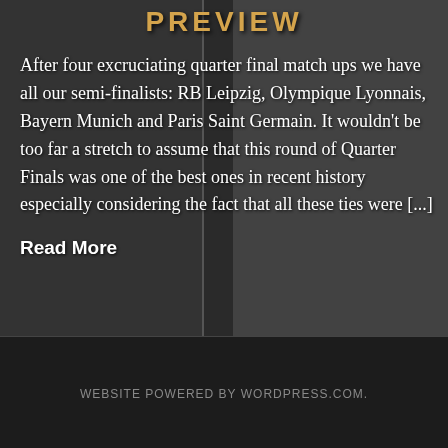PREVIEW
After four excruciating quarter final match ups we have all our semi-finalists: RB Leipzig, Olympique Lyonnais, Bayern Munich and Paris Saint Germain. It wouldn't be too far a stretch to assume that this round of Quarter Finals was one of the best ones in recent history especially considering the fact that all these ties were [...]
Read More
WEBSITE POWERED BY WORDPRESS.COM.